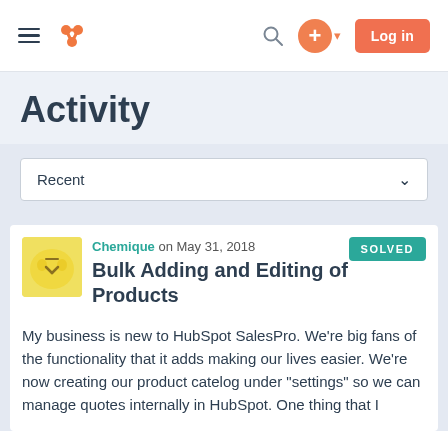HubSpot Community navigation bar with hamburger menu, logo, search icon, plus button, and Log in button
Activity
Recent
SOLVED
Chemique on May 31, 2018
Bulk Adding and Editing of Products
My business is new to HubSpot SalesPro. We're big fans of the functionality that it adds making our lives easier. We're now creating our product catelog under "settings" so we can manage quotes internally in HubSpot. One thing that I